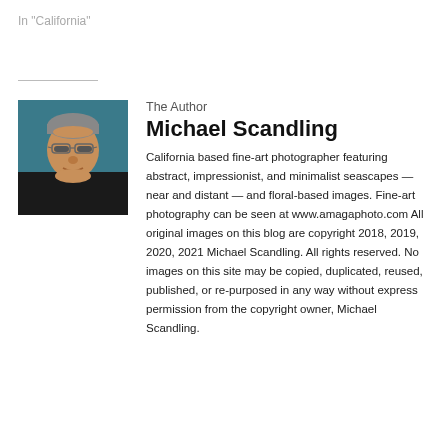In "California"
[Figure (photo): Headshot photo of Michael Scandling, an older man with glasses and short grey hair, wearing a dark shirt, against a teal/blue-green background.]
The Author
Michael Scandling
California based fine-art photographer featuring abstract, impressionist, and minimalist seascapes — near and distant — and floral-based images. Fine-art photography can be seen at www.amagaphoto.com All original images on this blog are copyright 2018, 2019, 2020, 2021 Michael Scandling. All rights reserved. No images on this site may be copied, duplicated, reused, published, or re-purposed in any way without express permission from the copyright owner, Michael Scandling.